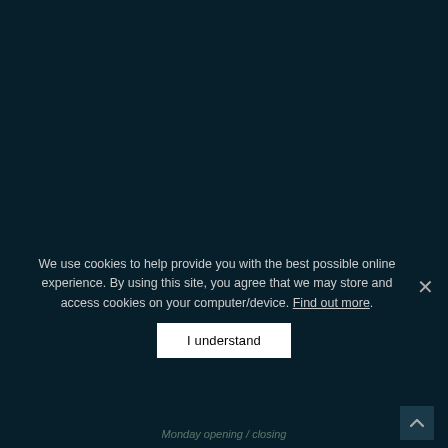[Figure (screenshot): Dark teal/navy background filling the upper portion of the page, representing a website background.]
We use cookies to help provide you with the best possible online experience. By using this site, you agree that we may store and access cookies on your computer/device. Find out more.
I understand
Monday opening / closing